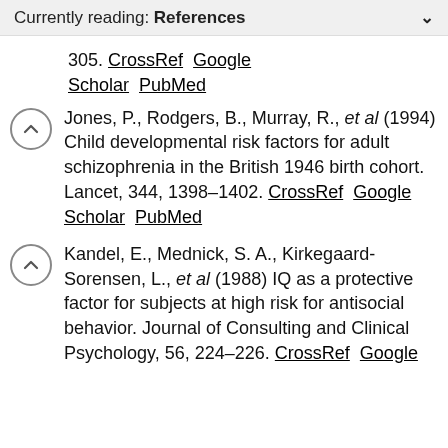Currently reading: References
305. CrossRef  Google Scholar  PubMed
Jones, P., Rodgers, B., Murray, R., et al (1994) Child developmental risk factors for adult schizophrenia in the British 1946 birth cohort. Lancet, 344, 1398–1402. CrossRef  Google Scholar  PubMed
Kandel, E., Mednick, S. A., Kirkegaard-Sorensen, L., et al (1988) IQ as a protective factor for subjects at high risk for antisocial behavior. Journal of Consulting and Clinical Psychology, 56, 224–226. CrossRef  Google